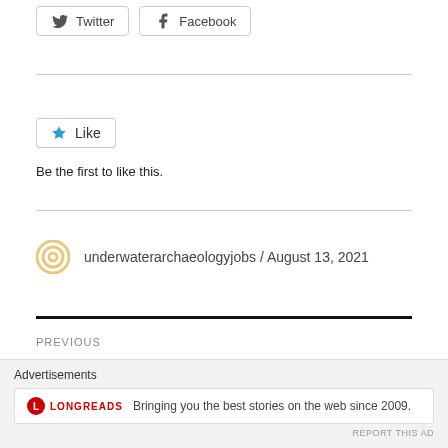[Figure (other): Twitter and Facebook share buttons]
[Figure (other): Like button with star icon]
Be the first to like this.
underwaterarchaeologyjobs / August 13, 2021
PREVIOUS
Nautical Archaeologist
Advertisements
LONGREADS
Bringing you the best stories on the web since 2009.